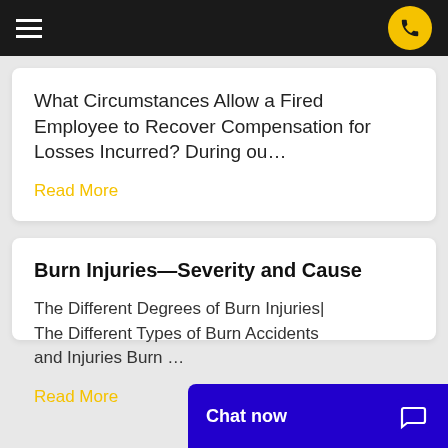navigation bar with hamburger menu and phone button
What Circumstances Allow a Fired Employee to Recover Compensation for Losses Incurred? During ou…
Read More
Burn Injuries—Severity and Cause
The Different Degrees of Burn Injuries| The Different Types of Burn Accidents and Injuries Burn …
Read More